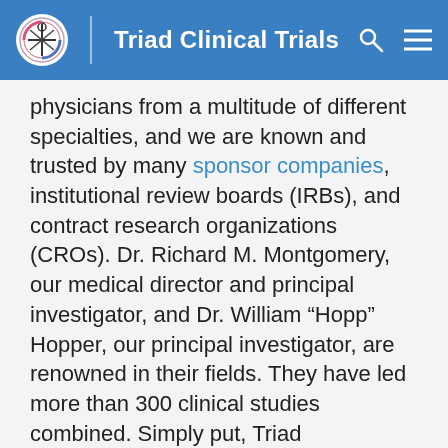Triad Clinical Trials
physicians from a multitude of different specialties, and we are known and trusted by many sponsor companies, institutional review boards (IRBs), and contract research organizations (CROs). Dr. Richard M. Montgomery, our medical director and principal investigator, and Dr. William “Hopp” Hopper, our principal investigator, are renowned in their fields. They have led more than 300 clinical studies combined. Simply put, Triad